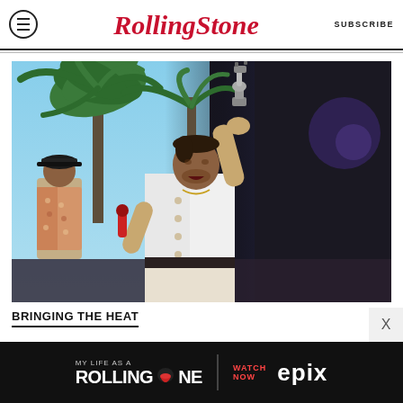Rolling Stone | SUBSCRIBE
[Figure (photo): A performer in a white jacket holds a trophy above his head with one arm raised while singing into a red microphone. Palm trees and a dark stage backdrop are visible behind him. A second person in a patterned jacket stands at left.]
BRINGING THE HEAT
[Figure (other): Advertisement: MY LIFE AS A ROLLING STONE — WATCH NOW EPIX]